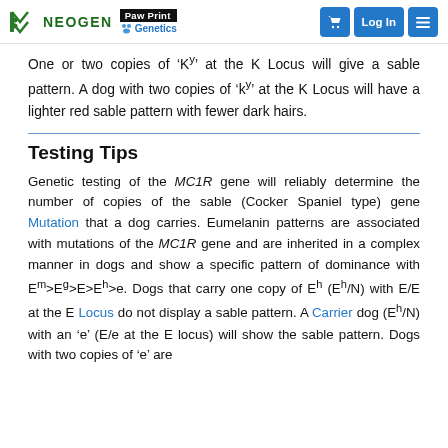NEOGEN Paw Print Genetics [header with cart, Log In, and menu buttons]
One or two copies of 'K^y' at the K Locus will give a sable pattern. A dog with two copies of 'k^y' at the K Locus will have a lighter red sable pattern with fewer dark hairs.
Testing Tips
Genetic testing of the MC1R gene will reliably determine the number of copies of the sable (Cocker Spaniel type) gene Mutation that a dog carries. Eumelanin patterns are associated with mutations of the MC1R gene and are inherited in a complex manner in dogs and show a specific pattern of dominance with E^m>E^g>E>E^h>e. Dogs that carry one copy of E^h (E^h/N) with E/E at the E Locus do not display a sable pattern. A Carrier dog (E^h/N) with an 'e' (E/e at the E locus) will show the sable pattern. Dogs with two copies of 'e' are